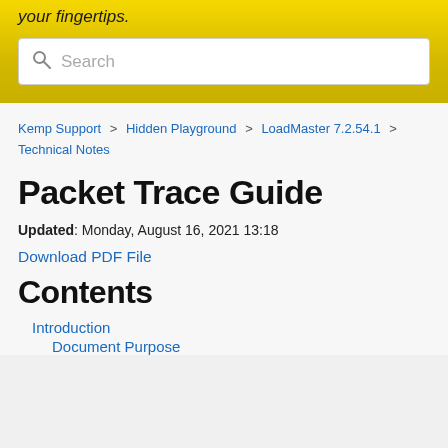your fingertips.
[Figure (screenshot): Search bar with magnifying glass icon and placeholder text 'Search' on yellow background]
Kemp Support > Hidden Playground > LoadMaster 7.2.54.1 > Technical Notes
Packet Trace Guide
Updated: Monday, August 16, 2021 13:18
Download PDF File
Contents
1. Introduction
1. Document Purpose